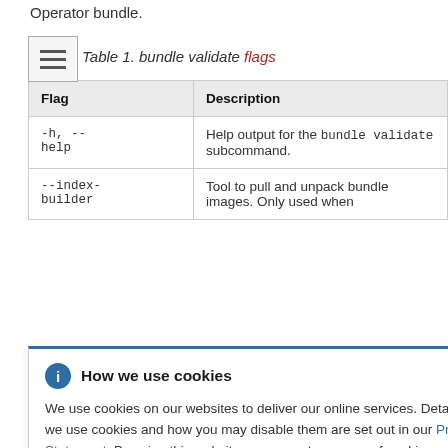Operator bundle.
Table 1. bundle validate flags
| Flag | Description |
| --- | --- |
| -h, --help | Help output for the bundle validate subcommand. |
| --index-builder | Tool to pull and unpack bundle images. Only used when ... hen set, no valid ...tors to run. Whe |
How we use cookies

We use cookies on our websites to deliver our online services. Details about how we use cookies and how you may disable them are set out in our Privacy Statement. By using this website you agree to our use of cookies.